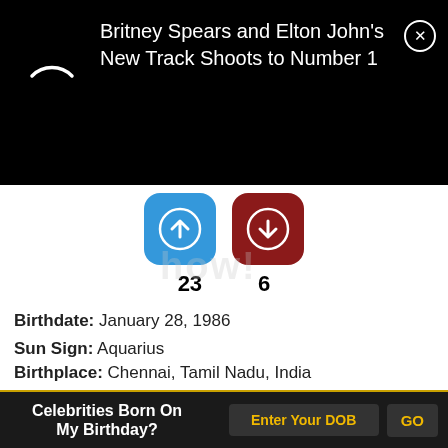Britney Spears and Elton John's New Track Shoots to Number 1
[Figure (screenshot): Vote up (blue rounded square button with up arrow) and vote down (dark red rounded square button with down arrow) icons with counts 23 and 6]
Birthdate: January 28, 1986
Sun Sign: Aquarius
Birthplace: Chennai, Tamil Nadu, India
28 Tamannaah
(Indian Actress Who Predominantly Works in Telugu
Celebrities Born On My Birthday?
Enter Your DOB
GO